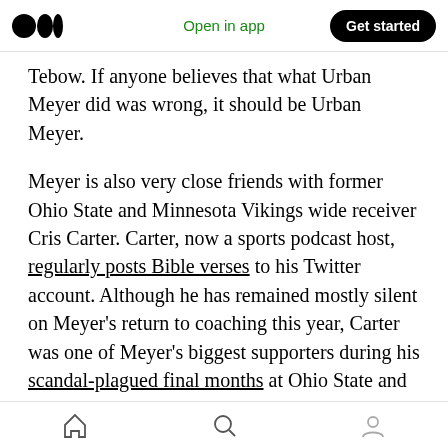Medium logo | Open in app | Get started
Tebow. If anyone believes that what Urban Meyer did was wrong, it should be Urban Meyer.
Meyer is also very close friends with former Ohio State and Minnesota Vikings wide receiver Cris Carter. Carter, now a sports podcast host, regularly posts Bible verses to his Twitter account. Although he has remained mostly silent on Meyer’s return to coaching this year, Carter was one of Meyer’s biggest supporters during his scandal-plagued final months at Ohio State and his subsequent resignation from the football program in December 2018. While he was co-host
Home | Search | Profile